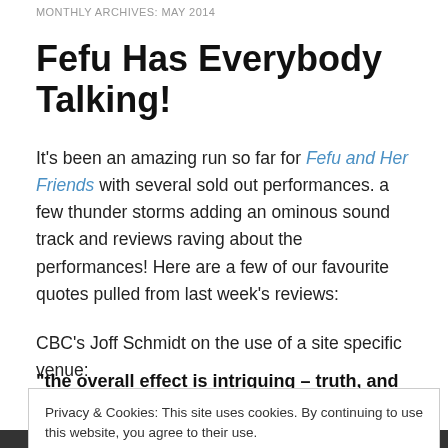MONTHLY ARCHIVES: MAY 2014
Fefu Has Everybody Talking!
It's been an amazing run so far for Fefu and Her Friends with several sold out performances. a few thunder storms adding an ominous sound track and reviews raving about the performances! Here are a few of our favourite quotes pulled from last week's reviews:
CBC's Joff Schmidt on the use of a site specific venue:
“the overall effect is intriguing – truth, and reality,
Privacy & Cookies: This site uses cookies. By continuing to use this website, you agree to their use.
To find out more, including how to control cookies, see here: Cookie Policy